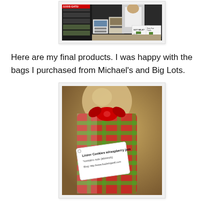[Figure (photo): Photo of a trade show or market booth with a person in a white apron standing behind a display table with food products and signs reading 'GOT MILK?' and 'Dairy Free Treats']
Here are my final products. I was happy with the bags I purchased from Michael's and Big Lots.
[Figure (photo): Close-up photo of a holiday gift bag with red and green plaid ribbon, containing cookies. A label tag reads: 'Linzer Cookies w/raspberry jam *contains nuts (almonds) Blog: http://www.lisalivingwell.com']